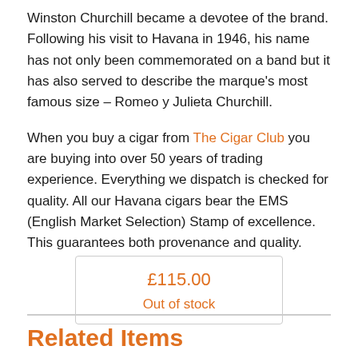Winston Churchill became a devotee of the brand. Following his visit to Havana in 1946, his name has not only been commemorated on a band but it has also served to describe the marque's most famous size – Romeo y Julieta Churchill.
When you buy a cigar from The Cigar Club you are buying into over 50 years of trading experience. Everything we dispatch is checked for quality. All our Havana cigars bear the EMS (English Market Selection) Stamp of excellence. This guarantees both provenance and quality.
| £115.00 |
| Out of stock |
Related Items